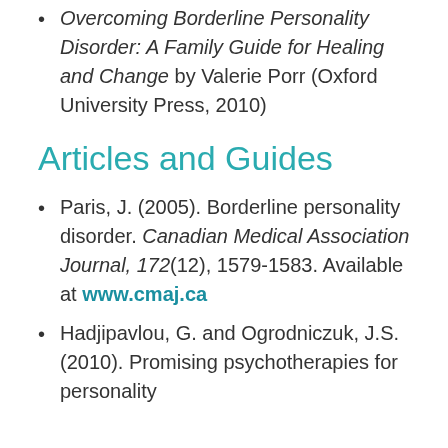Overcoming Borderline Personality Disorder: A Family Guide for Healing and Change by Valerie Porr (Oxford University Press, 2010)
Articles and Guides
Paris, J. (2005). Borderline personality disorder. Canadian Medical Association Journal, 172(12), 1579-1583. Available at www.cmaj.ca
Hadjipavlou, G. and Ogrodniczuk, J.S. (2010). Promising psychotherapies for personality